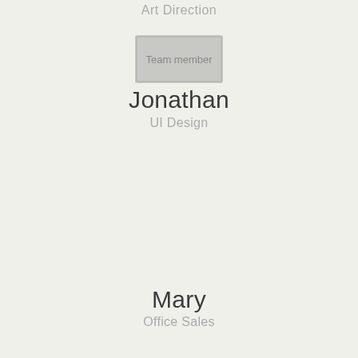Art Direction
[Figure (photo): Team member photo placeholder image]
Jonathan
UI Design
Mary
Office Sales